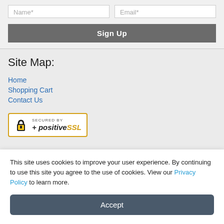[Figure (screenshot): Form fields for Name* and Email* inputs]
[Figure (screenshot): Sign Up button]
Site Map:
Home
Shopping Cart
Contact Us
[Figure (logo): Secured by PositiveSSL badge with padlock icon and yellow border]
Products:
65" 4K UHD Display
This site uses cookies to improve your user experience. By continuing to use this site you agree to the use of cookies. View our Privacy Policy to learn more.
[Figure (screenshot): Accept button for cookie consent]